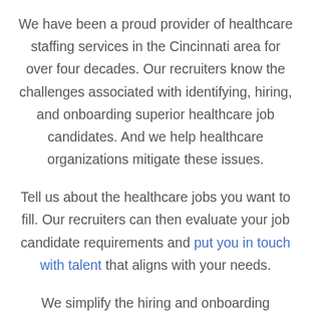We have been a proud provider of healthcare staffing services in the Cincinnati area for over four decades. Our recruiters know the challenges associated with identifying, hiring, and onboarding superior healthcare job candidates. And we help healthcare organizations mitigate these issues.
Tell us about the healthcare jobs you want to fill. Our recruiters can then evaluate your job candidate requirements and put you in touch with talent that aligns with your needs.
We simplify the hiring and onboarding processes if you move forward with a job candidate for a clinical healthcare role. Our team can work with you to ensure you and your new hire receive